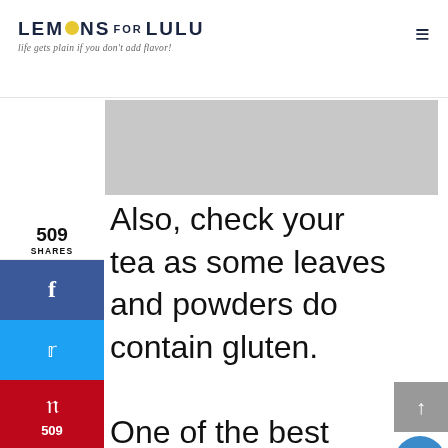LEMONS FOR LULU — life gets plain if you don't add flavor!
[Figure (screenshot): Grey advertisement banner area]
509 SHARES
Also, check your tea as some leaves and powders do contain gluten.

One of the best things about this Mai Tai recipe is that it does make a large enough batch to share with friends. It can easily be cut in half or doubled as needed. You can easily omit the rum and serve this as a virgin Mai Tai Iced Tea!